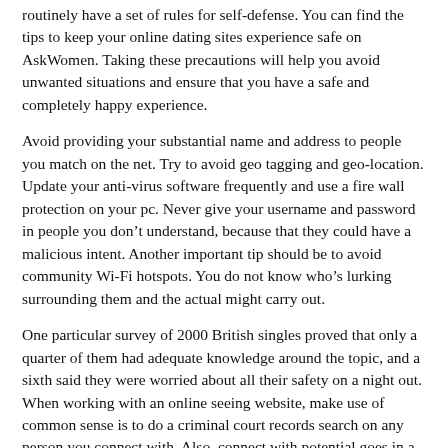routinely have a set of rules for self-defense. You can find the tips to keep your online dating sites experience safe on AskWomen. Taking these precautions will help you avoid unwanted situations and ensure that you have a safe and completely happy experience.
Avoid providing your substantial name and address to people you match on the net. Try to avoid geo tagging and geo-location. Update your anti-virus software frequently and use a fire wall protection on your pc. Never give your username and password in people you don’t understand, because that they could have a malicious intent. Another important tip should be to avoid community Wi-Fi hotspots. You do not know who’s lurking surrounding them and the actual might carry out.
One particular survey of 2000 British singles proved that only a quarter of them had adequate knowledge around the topic, and a sixth said they were worried about all their safety on a night out. When working with an online seeing website, make use of common sense is to do a criminal court records search on any person you connect with. Also, connect with potential goes in a people place whenever possible. And remember that if you’re not sure any time someone can be trustworthy, you need to use a trusted friend to help you find another person.
When others states might appear to be comparatively safe with respect to online dating, other folks are not and so safe. A very